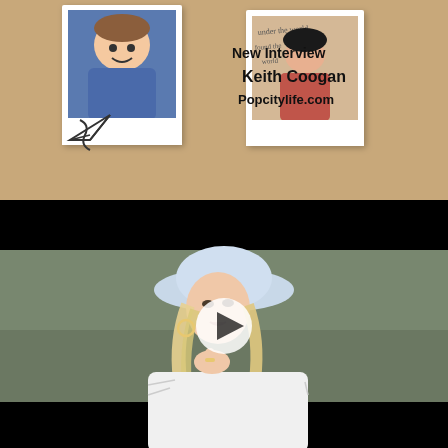[Figure (photo): Top section: corkboard background with two polaroid photos showing people (boy in blue shirt, person with handwritten background), a paper airplane doodle, and text overlay reading 'New Interview Keith Coogan Popcitylife.com']
[Figure (photo): Bottom section: video player with black bars top and bottom, showing a blonde woman wearing a light blue bucket hat and white distressed jacket, with a white play button triangle overlay in the center]